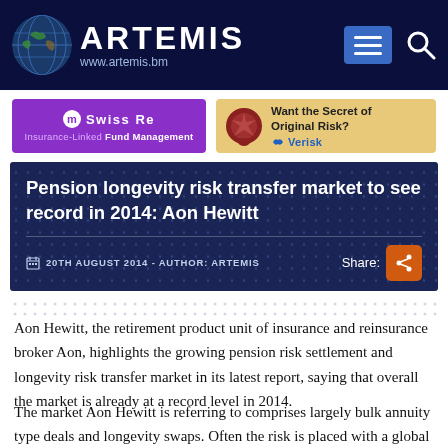ARTEMIS www.artemis.bm
[Figure (logo): Swiss Re Insurance-Linked Fund Management purple banner ad]
[Figure (logo): Verisk 'Want the Secret of Original Risk?' banner ad with wax seal]
Pension longevity risk transfer market to see record in 2014: Aon Hewitt
20TH AUGUST 2014 - AUTHOR: ARTEMIS
Aon Hewitt, the retirement product unit of insurance and reinsurance broker Aon, highlights the growing pension risk settlement and longevity risk transfer market in its latest report, saying that overall the market is already at a record level in 2014.
The market Aon Hewitt is referring to comprises largely bulk annuity type deals and longevity swaps. Often the risk is placed with a global reinsurance company, or panel of reinsurers, at the